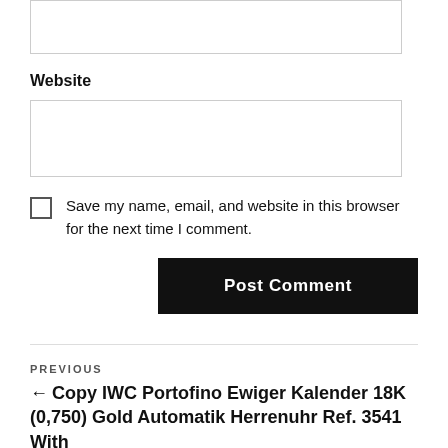[input box top]
Website
[input box website]
Save my name, email, and website in this browser for the next time I comment.
Post Comment
PREVIOUS
← Copy IWC Portofino Ewiger Kalender 18K (0,750) Gold Automatik Herrenuhr Ref. 3541 With